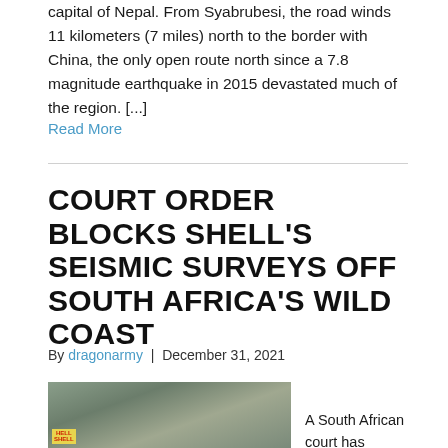capital of Nepal. From Syabrubesi, the road winds 11 kilometers (7 miles) north to the border with China, the only open route north since a 7.8 magnitude earthquake in 2015 devastated much of the region. [...]
Read More
COURT ORDER BLOCKS SHELL'S SEISMIC SURVEYS OFF SOUTH AFRICA'S WILD COAST
By dragonarmy | December 31, 2021
[Figure (photo): Protesters holding signs including one that reads 'HELL SHELL' at an outdoor demonstration, likely related to Shell seismic surveys off South Africa's Wild Coast.]
A South African court has ordered oil giant Shell to